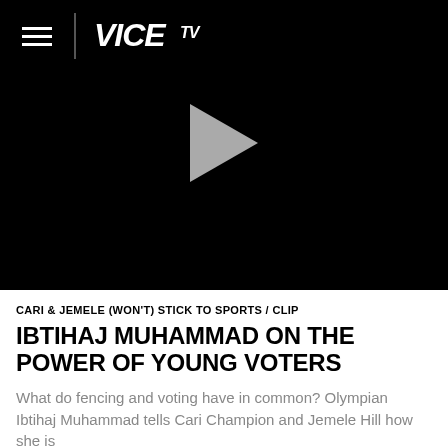[Figure (screenshot): Black video player area with VICE TV logo in top-left header bar (hamburger menu icon, vertical divider, VICE TV logo in white italic text), and a grey triangular play button centered in the black video frame.]
CARI & JEMELE (WON'T) STICK TO SPORTS / CLIP
IBTIHAJ MUHAMMAD ON THE POWER OF YOUNG VOTERS
What do fencing and voting have in common? Olympian Ibtihaj Muhammad tells Cari Champion and Jemele Hill how she is